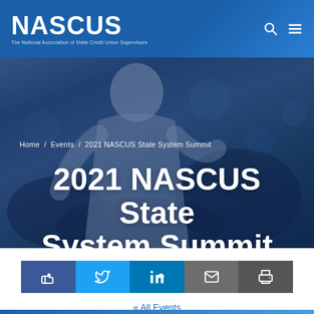NASCUS – The National Association of State Credit Union Supervisors
[Figure (photo): Hero background photo showing a blurred speaker/presenter figure in a conference setting, with dark blue overlay. Breadcrumb navigation reads: Home / Events / 2021 NASCUS State System Summit]
2021 NASCUS State System Summit
[Figure (infographic): Social sharing bar with five buttons: Facebook (thumbs up), Twitter (bird icon), LinkedIn (in icon), Email (envelope icon), Print (printer icon)]
« All Events